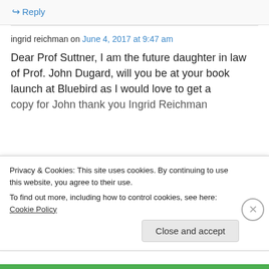↳ Reply
ingrid reichman on June 4, 2017 at 9:47 am
Dear Prof Suttner, I am the future daughter in law of Prof. John Dugard, will you be at your book launch at Bluebird as I would love to get a copy for John thank you Ingrid Reichman
Privacy & Cookies: This site uses cookies. By continuing to use this website, you agree to their use.
To find out more, including how to control cookies, see here: Cookie Policy
Close and accept